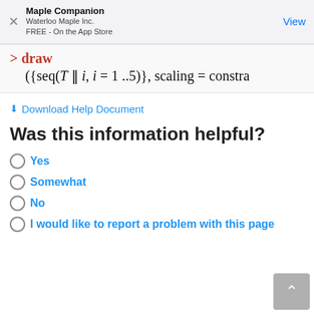Maple Companion
Waterloo Maple Inc.
FREE - On the App Store
Download Help Document
Was this information helpful?
Yes
Somewhat
No
I would like to report a problem with this page